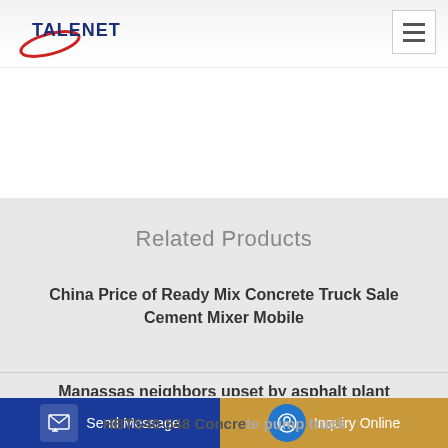TALENET
Related Products
China Price of Ready Mix Concrete Truck Sale Cement Mixer Mobile
Manassas neighbors upset by asphalt plant discussions
HBTS40-548 Concrete pump truck
Send Message | Inquiry Online